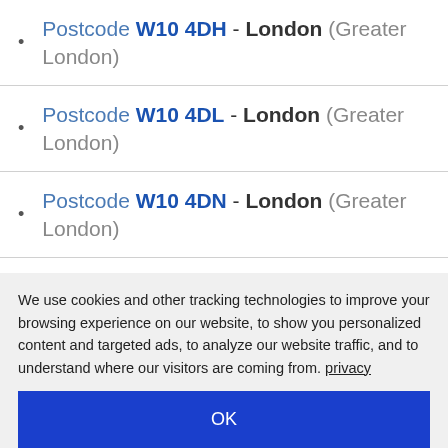Postcode W10 4DH - London (Greater London)
Postcode W10 4DL - London (Greater London)
Postcode W10 4DN - London (Greater London)
Postcode W10 4DP - London (Greater London)
Postcode W10 4DQ - London (Greater London)
Postcode W10 4DR - London (Greater London)
Postcode W10 4DS - London (Greater London)
We use cookies and other tracking technologies to improve your browsing experience on our website, to show you personalized content and targeted ads, to analyze our website traffic, and to understand where our visitors are coming from. privacy